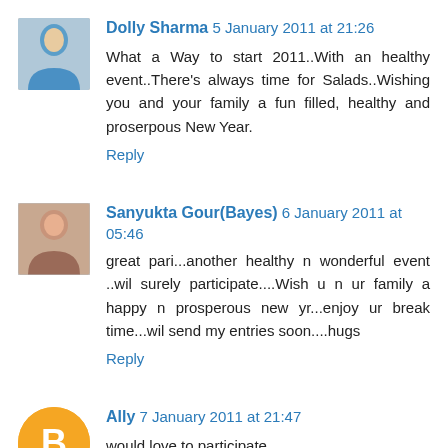Dolly Sharma 5 January 2011 at 21:26
What a Way to start 2011..With an healthy event..There's always time for Salads..Wishing you and your family a fun filled, healthy and proserpous New Year.
Reply
Sanyukta Gour(Bayes) 6 January 2011 at 05:46
great pari...another healthy n wonderful event ..wil surely participate....Wish u n ur family a happy n prosperous new yr...enjoy ur break time...wil send my entries soon....hugs
Reply
Ally 7 January 2011 at 21:47
would love to participate...
Ally
http://recipesfortheeverydaywoman.blogspot.com